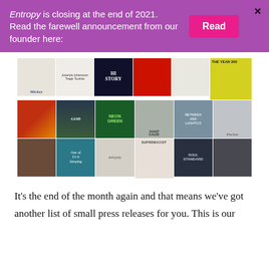Entropy is closing at the end of 2021. Read the farewell announcement from our founder here:
[Figure (illustration): A collage grid of approximately 21 book covers arranged in 3 rows and 7 columns, featuring various small press publications with colorful and varied cover designs.]
It's the end of the month again and that means we've got another list of small press releases for you. This is our